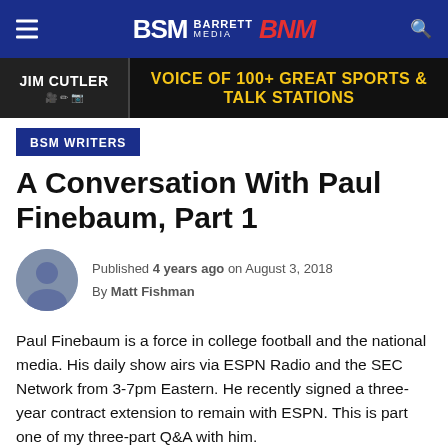BSM BARRETT MEDIA BNM
[Figure (infographic): Jim Cutler advertisement banner: Voice of 100+ Great Sports & Talk Stations]
BSM WRITERS
A Conversation With Paul Finebaum, Part 1
Published 4 years ago on August 3, 2018
By Matt Fishman
Paul Finebaum is a force in college football and the national media. His daily show airs via ESPN Radio and the SEC Network from 3-7pm Eastern. He recently signed a three-year contract extension to remain with ESPN. This is part one of my three-part Q&A with him.
Matt: With...